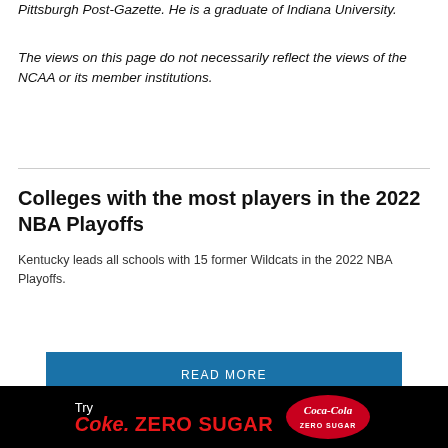Pittsburgh Post-Gazette. He is a graduate of Indiana University.
The views on this page do not necessarily reflect the views of the NCAA or its member institutions.
Colleges with the most players in the 2022 NBA Playoffs
Kentucky leads all schools with 15 former Wildcats in the 2022 NBA Playoffs.
READ MORE
[Figure (other): Advertisement bar for Coca-Cola Zero Sugar product at bottom of page]